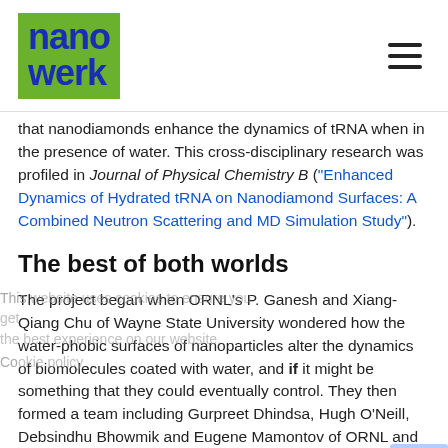nanowerk
that nanodiamonds enhance the dynamics of tRNA when in the presence of water. This cross-disciplinary research was profiled in Journal of Physical Chemistry B ("Enhanced Dynamics of Hydrated tRNA on Nanodiamond Surfaces: A Combined Neutron Scattering and MD Simulation Study").
The best of both worlds
The project began when ORNL’s P. Ganesh and Xiang-Qiang Chu of Wayne State University wondered how the water-phobic surfaces of nanoparticles alter the dynamics of biomolecules coated with water, and if it might be something that they could eventually control. They then formed a team including Gurpreet Dhindsa, Hugh O’Neill, Debsindhu Bhowmik and Eugene Mamontov of ORNL and Liang Hong of Shanghai Jiao Tong University in China to observe the motions of hydrogen atoms from the model system, tRNA, in water using SNS’s BASIS neutron backscattering spectrometer, SNS beam line 2.